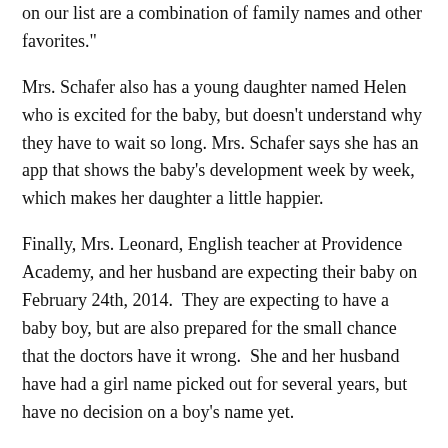on our list are a combination of family names and other favorites."
Mrs. Schafer also has a young daughter named Helen who is excited for the baby, but doesn't understand why they have to wait so long. Mrs. Schafer says she has an app that shows the baby's development week by week, which makes her daughter a little happier.
Finally, Mrs. Leonard, English teacher at Providence Academy, and her husband are expecting their baby on February 24th, 2014.  They are expecting to have a baby boy, but are also prepared for the small chance that the doctors have it wrong.  She and her husband have had a girl name picked out for several years, but have no decision on a boy's name yet.